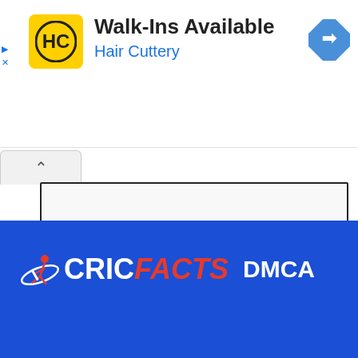[Figure (screenshot): Advertisement banner for Hair Cuttery showing HC logo, 'Walk-Ins Available' text, 'Hair Cuttery' subtitle in blue, and a navigation arrow icon]
[Figure (screenshot): UI panel with a collapsed tab showing an upward chevron and a bordered white content box]
[Figure (logo): CricFacts logo on blue background with cricketer icon, CRIC in white bold, FACTS in red italic, followed by DMCA text]